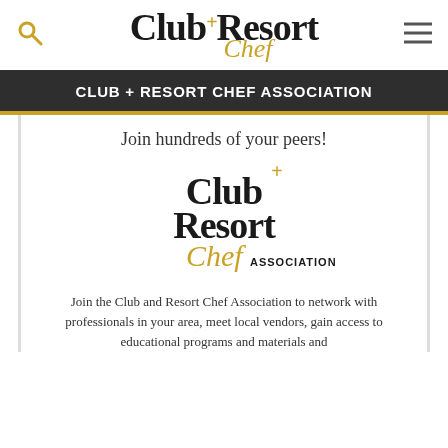Club+Resort Chef [logo with navigation icons]
CLUB + RESORT CHEF ASSOCIATION
Join hundreds of your peers!
[Figure (logo): Club+Resort Chef Association logo — black serif text 'Club+' (with gold plus), 'Resort' stacked, gold italic 'Chef' script, and 'ASSOCIATION' in small caps]
Join the Club and Resort Chef Association to network with professionals in your area, meet local vendors, gain access to educational programs and materials and